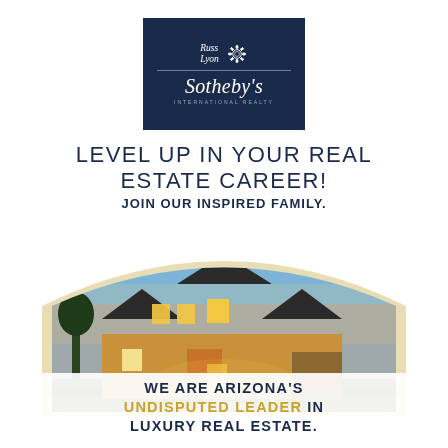[Figure (logo): Russ Lyon Sotheby's International Realty logo on dark navy background]
LEVEL UP IN YOUR REAL ESTATE CAREER!
JOIN OUR INSPIRED FAMILY.
[Figure (photo): Luxury house with warm lighting at dusk, shown inside an arch-shaped frame with gold/cream border]
WE ARE ARIZONA'S UNDISPUTED LEADER IN LUXURY REAL ESTATE.